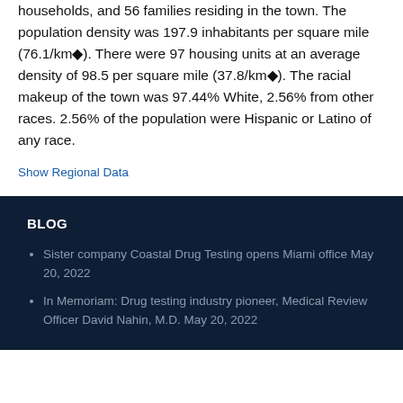households, and 56 families residing in the town. The population density was 197.9 inhabitants per square mile (76.1/km◆). There were 97 housing units at an average density of 98.5 per square mile (37.8/km◆). The racial makeup of the town was 97.44% White, 2.56% from other races. 2.56% of the population were Hispanic or Latino of any race.
Show Regional Data
BLOG
Sister company Coastal Drug Testing opens Miami office May 20, 2022
In Memoriam: Drug testing industry pioneer, Medical Review Officer David Nahin, M.D. May 20, 2022